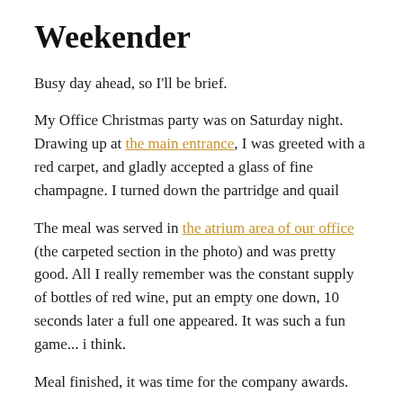Weekender
Busy day ahead, so I'll be brief.
My Office Christmas party was on Saturday night. Drawing up at the main entrance, I was greeted with a red carpet, and gladly accepted a glass of fine champagne. I turned down the partridge and quail
The meal was served in the atrium area of our office (the carpeted section in the photo) and was pretty good. All I really remember was the constant supply of bottles of red wine, put an empty one down, 10 seconds later a full one appeared. It was such a fun game... i think.
Meal finished, it was time for the company awards.